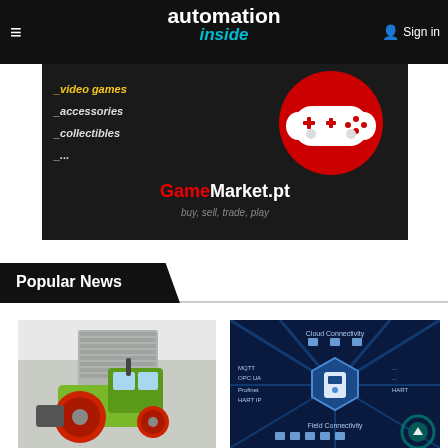automation inside — Sign in
[Figure (advertisement): GameMarket.pt advertisement banner with game controller logo, menu items: _video games, _accessories, _collectibles, _... and tagline buy, sell, trade, play]
Popular News
[Figure (photo): Green CLAAS tractor with red wheels parked in a large industrial garage]
[Figure (infographic): Blue technology connectivity diagram with hexagon device in center, showing Cloud Connectivity, Field Connectivity, MQTT, OPC UA, Profinet, HART IP, HART connections]